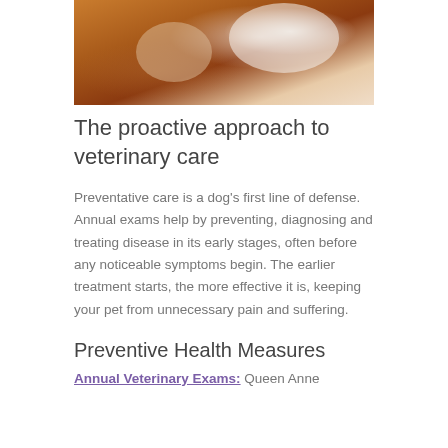[Figure (photo): Person in white sweater holding or petting a dog, warm brown tones]
The proactive approach to veterinary care
Preventative care is a dog's first line of defense. Annual exams help by preventing, diagnosing and treating disease in its early stages, often before any noticeable symptoms begin. The earlier treatment starts, the more effective it is, keeping your pet from unnecessary pain and suffering.
Preventive Health Measures
Annual Veterinary Exams: Queen Anne